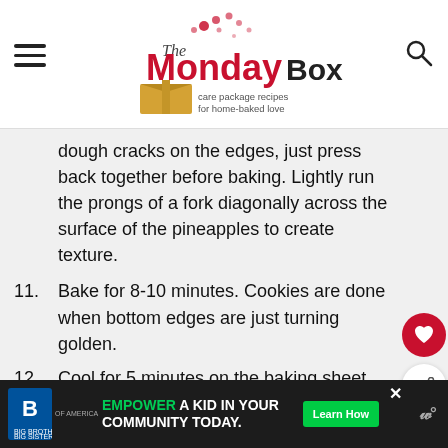The Monday Box — care package recipes for home-baked love
dough cracks on the edges, just press back together before baking. Lightly run the prongs of a fork diagonally across the surface of the pineapples to create texture.
11. Bake for 8-10 minutes. Cookies are done when bottom edges are just turning golden.
12. Cool for 5 minutes on the baking sheet before transferring to a wire coo…
13. Store in an airtight container at room temperature for up to 10 days.
EMPOWER A KID IN YOUR COMMUNITY TODAY. Learn How — Big Brothers Big Sisters of America